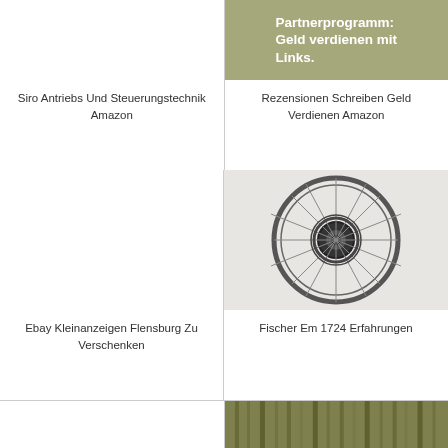[Figure (photo): Empty white space - no image visible]
Siro Antriebs Und Steuerungstechnik Amazon
[Figure (photo): Olive/sage green banner with bold white German text: Partnerprogramm. Geld verdienen mit Links.]
Rezensionen Schreiben Geld Verdienen Amazon
[Figure (photo): Empty white space - no image visible]
Ebay Kleinanzeigen Flensburg Zu Verschenken
[Figure (photo): Close-up black and white photo of a bicycle wheel showing spokes, hub, and gear mechanism]
Fischer Em 1724 Erfahrungen
[Figure (photo): Partial view of a forest or natural green/brown scene, cut off at bottom of page]